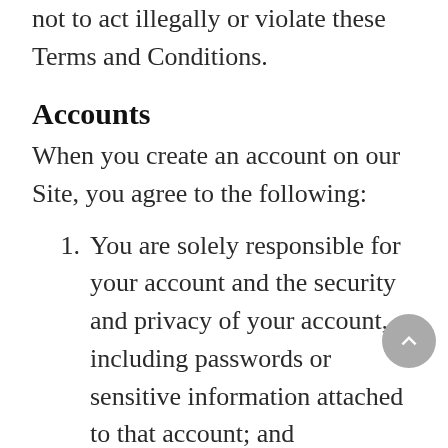By posting publicly on our Site, you agree not to act illegally or violate these Terms and Conditions.
Accounts
When you create an account on our Site, you agree to the following:
You are solely responsible for your account and the security and privacy of your account, including passwords or sensitive information attached to that account; and
All personal information you provide to us through your account is up to